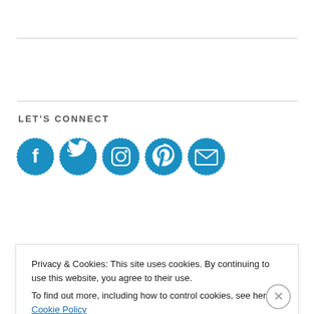LET'S CONNECT
[Figure (illustration): Five blue circular social media icons with dotted borders: Facebook, Twitter, Instagram, Pinterest, and Email/envelope icons]
FOLLOW VIA EMAIL
Privacy & Cookies: This site uses cookies. By continuing to use this website, you agree to their use.
To find out more, including how to control cookies, see here: Cookie Policy
Close and accept